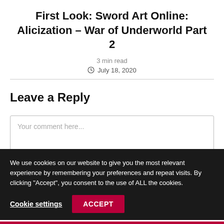First Look: Sword Art Online: Alicization – War of Underworld Part 2
3 min read
July 18, 2020
Leave a Reply
Your comment here...
We use cookies on our website to give you the most relevant experience by remembering your preferences and repeat visits. By clicking "Accept", you consent to the use of ALL the cookies.
Cookie settings
ACCEPT